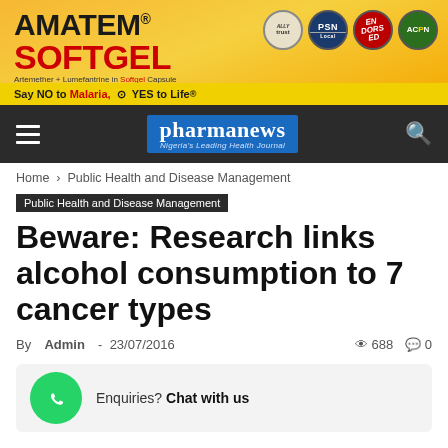[Figure (illustration): Amatem Softgel advertisement banner — orange/yellow background with brand name, capsule imagery, and logos for PSN, ENDORSED, ACPN. Bottom yellow bar reads: Say NO to Malaria, YES to Life.]
pharmanews — Nigeria's Leading Health Journal
Home › Public Health and Disease Management
Public Health and Disease Management
Beware: Research links alcohol consumption to 7 cancer types
By Admin - 23/07/2016   👁 688   💬 0
Enquiries? Chat with us